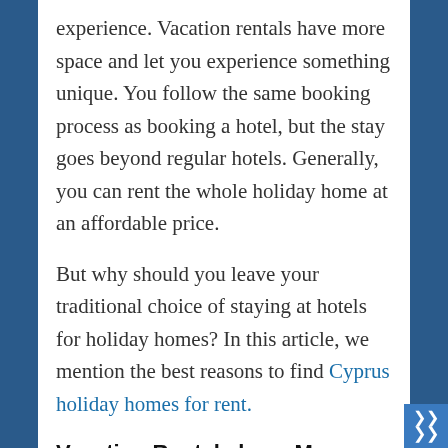experience. Vacation rentals have more space and let you experience something unique. You follow the same booking process as booking a hotel, but the stay goes beyond regular hotels. Generally, you can rent the whole holiday home at an affordable price.
But why should you leave your traditional choice of staying at hotels for holiday homes? In this article, we mention the best reasons to find Cyprus holiday homes for rent.
Vacation Rentals have More Rooms to Access
Standard hotel rooms are usually furnished with